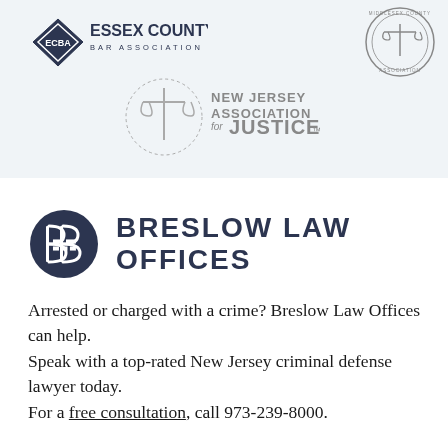[Figure (logo): ECBA Essex County Bar Association logo (diamond shield with ECBA text)]
[Figure (logo): New Jersey Association for Justice circular seal logo]
[Figure (logo): New Jersey Association for Justice scales of justice logo with full text]
[Figure (logo): Breslow Law Offices logo with stylized B monogram in dark circle]
BRESLOW LAW OFFICES
Arrested or charged with a crime? Breslow Law Offices can help.
Speak with a top-rated New Jersey criminal defense lawyer today.
For a free consultation, call 973-239-8000.
[Figure (illustration): Facebook social media icon (lowercase f)]